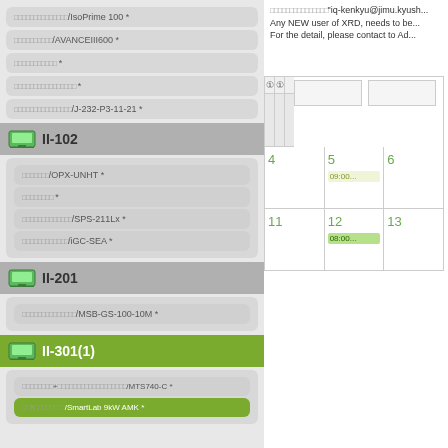□□□□□□□□□□□□□□/IsoPrime 100 *
□□□□□□□□□□/AVANCEIII600 *
□□□□□□□□□□□ *
□□□□□□□□□□□□□□□□ *
□□□□□□□□□□□□□□□/J-232-P3-11-21 *
II-102
□□□□□□□/OPX-UNHT *
□□□□□□□□ *
□□□□□□□□□□□□□/SPS-211Lx *
□□□□□□□□□□□□/iGC-SEA *
II-201
□□□□□□□□□□□□□□/MSB-GS-100-10M *
II-301(1)
□□□□□□□□+□□□□□□□□□□□□□□□□□□/MTS740-C *
□□X□□□□□□□□/SmartLab 9kW AMK *
□□□□□□□□□□□□□□□"iq-kenkyu@jimu.kyush... Any NEW user of XRD, needs to be... For the detail, please contact to Ad...
[Figure (table-as-image): Calendar grid showing dates 4-6 and 11-13 with entries 09:00... on day 5 and 08:00... on day 12]